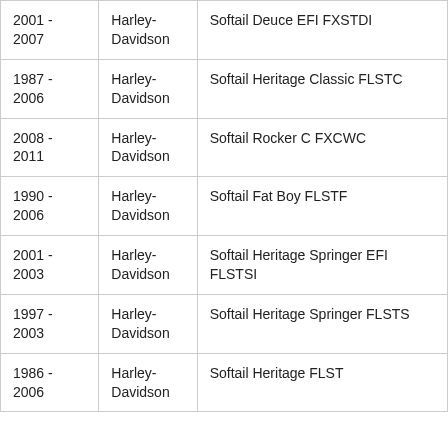| 2001 - 2007 | Harley-Davidson | Softail Deuce EFI FXSTDI |
| 1987 - 2006 | Harley-Davidson | Softail Heritage Classic FLSTC |
| 2008 - 2011 | Harley-Davidson | Softail Rocker C FXCWC |
| 1990 - 2006 | Harley-Davidson | Softail Fat Boy FLSTF |
| 2001 - 2003 | Harley-Davidson | Softail Heritage Springer EFI FLSTSI |
| 1997 - 2003 | Harley-Davidson | Softail Heritage Springer FLSTS |
| 1986 - 2006 | Harley-Davidson | Softail Heritage FLST |